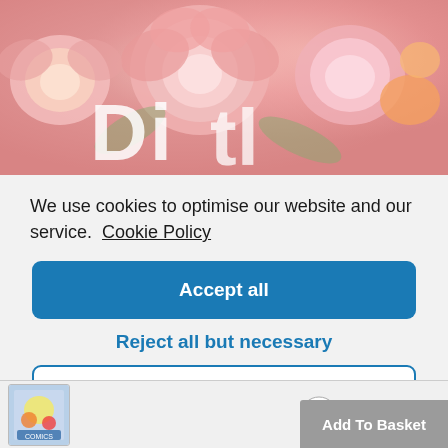[Figure (photo): Floral arrangement with pink roses and flowers, partially visible text underneath]
We use cookies to optimise our website and our service.  Cookie Policy
Accept all
Reject all but necessary
View preferences
[Figure (photo): Small thumbnail image of a colorful book or product cover at bottom left]
Add To Basket